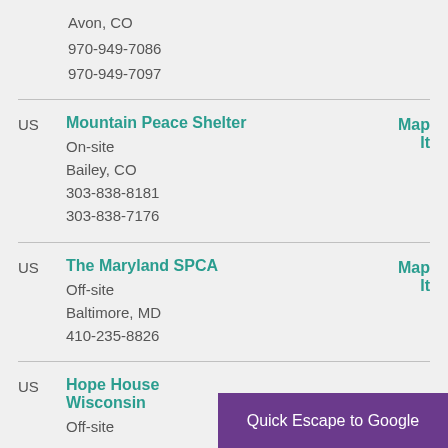Avon, CO
970-949-7086
970-949-7097
US Mountain Peace Shelter — On-site, Bailey, CO, 303-838-8181, 303-838-7176
US The Maryland SPCA — Off-site, Baltimore, MD, 410-235-8826
US Hope House Wisconsin — Off-site
Quick Escape to Google